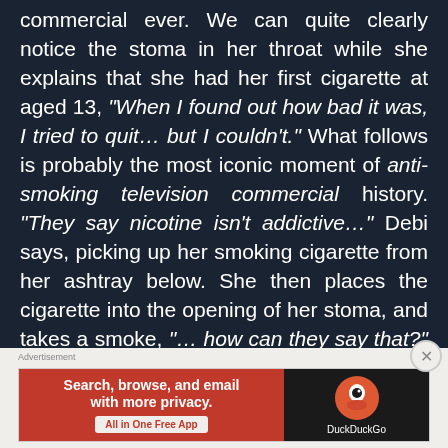commercial ever. We can quite clearly notice the stoma in her throat while she explains that she had her first cigarette at aged 13, "When I found out how bad it was, I tried to quit... but I couldn't." What follows is probably the most iconic moment of anti-smoking television commercial history. "They say nicotine isn't addictive..." Debi says, picking up her smoking cigarette from her ashtray below. She then places the cigarette into the opening of her stoma, and takes a smoke, "... how can they say that?" she concludes, with the cigarette smoke seeping out of her stoma. It's a very powerful image that will stick in most of our minds forever.
[Figure (other): DuckDuckGo advertisement banner: orange-red left panel with text 'Search, browse, and email with more privacy. All in One Free App' and dark right panel with DuckDuckGo logo]